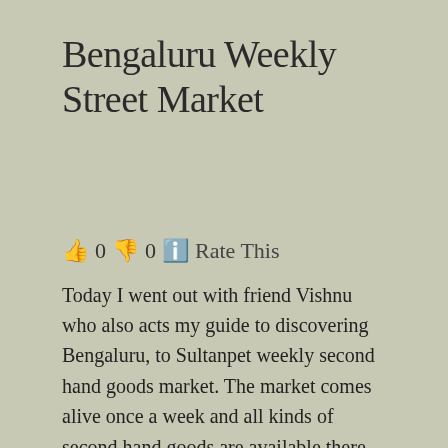Bengaluru Weekly Street Market
👍 0 👎 0 ℹ Rate This
Today I went out with friend Vishnu who also acts my guide to discovering Bengaluru, to Sultanpet weekly second hand goods market. The market comes alive once a week and all kinds of second hand goods are available there …. electrical, electronic, shoes, cloths, hardware, etc, etc. The place was teeming with people of all shapes and sizes ….. women wearing colourful cloths, toddlers holding on to their parents,